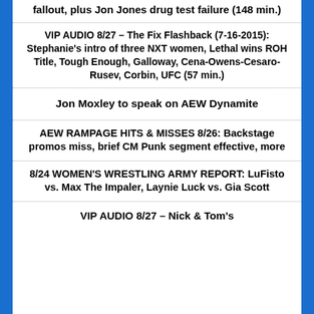fallout, plus Jon Jones drug test failure (148 min.)
VIP AUDIO 8/27 – The Fix Flashback (7-16-2015): Stephanie's intro of three NXT women, Lethal wins ROH Title, Tough Enough, Galloway, Cena-Owens-Cesaro-Rusev, Corbin, UFC (57 min.)
Jon Moxley to speak on AEW Dynamite
AEW RAMPAGE HITS & MISSES 8/26: Backstage promos miss, brief CM Punk segment effective, more
8/24 WOMEN'S WRESTLING ARMY REPORT: LuFisto vs. Max The Impaler, Laynie Luck vs. Gia Scott
VIP AUDIO 8/27 – Nick & Tom's